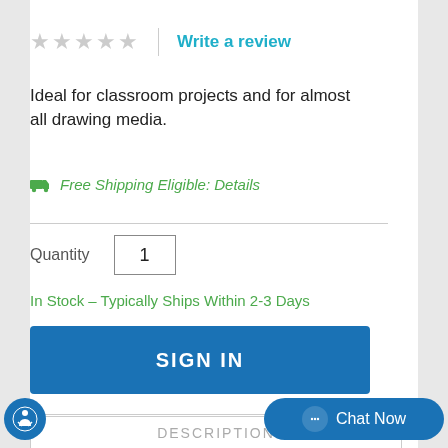★★★★★ (empty stars) | Write a review
Ideal for classroom projects and for almost all drawing media.
🚚 Free Shipping Eligible: Details
Quantity  1
In Stock – Typically Ships Within 2-3 Days
SIGN IN
DESCRIPTION
Chat Now